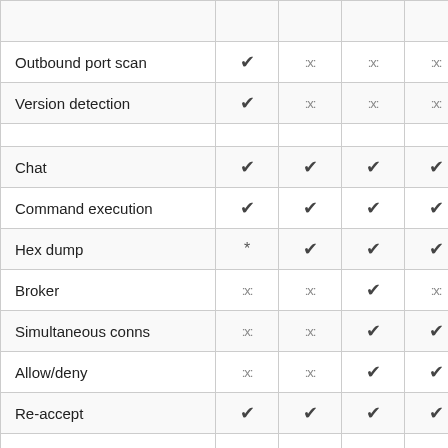| Feature | Col1 | Col2 | Col3 | Col4 |
| --- | --- | --- | --- | --- |
| Outbound port scan | ✔ | :x: | :x: | :x: |
| Version detection | ✔ | :x: | :x: | :x: |
|  |  |  |  |  |
| Chat | ✔ | ✔ | ✔ | ✔ |
| Command execution | ✔ | ✔ | ✔ | ✔ |
| Hex dump | * | ✔ | ✔ | ✔ |
| Broker | :x: | :x: | ✔ | :x: |
| Simultaneous conns | :x: | :x: | ✔ | ✔ |
| Allow/deny | :x: | :x: | ✔ | ✔ |
| Re-accept | ✔ | ✔ | ✔ | ✔ |
| Self-injecting | ✔ | :x: | :x: | :x: |